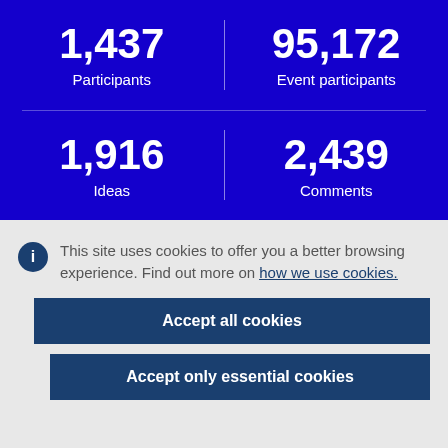1,437 Participants
95,172 Event participants
1,916 Ideas
2,439 Comments
This site uses cookies to offer you a better browsing experience. Find out more on how we use cookies.
Accept all cookies
Accept only essential cookies